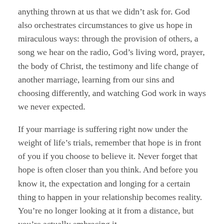anything thrown at us that we didn't ask for. God also orchestrates circumstances to give us hope in miraculous ways: through the provision of others, a song we hear on the radio, God's living word, prayer, the body of Christ, the testimony and life change of another marriage, learning from our sins and choosing differently, and watching God work in ways we never expected.
If your marriage is suffering right now under the weight of life's trials, remember that hope is in front of you if you choose to believe it. Never forget that hope is often closer than you think. And before you know it, the expectation and longing for a certain thing to happen in your relationship becomes reality. You're no longer looking at it from a distance, but you're actually embracing it.